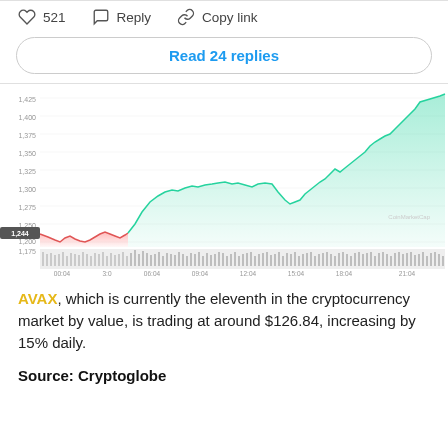♡ 521   Reply   Copy link
Read 24 replies
[Figure (continuous-plot): AVAX/USD price chart showing intraday trading. Left portion shows red/pink area chart with price around 1,200-1,250 range in early hours, then green area chart rising sharply to 1,425+ by end of day. X-axis shows times from 00:04 to 21:04. Y-axis shows price levels from 1,175 to 1,425. Volume bars shown at bottom. CoinMarketCap watermark visible. Label shows 1,244 on left axis.]
AVAX, which is currently the eleventh in the cryptocurrency market by value, is trading at around $126.84, increasing by 15% daily.
Source: Cryptoglobe